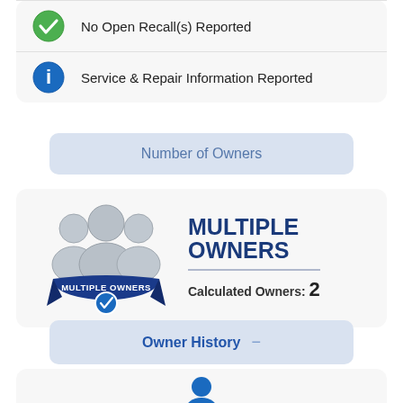No Open Recall(s) Reported
Service & Repair Information Reported
Number of Owners
[Figure (infographic): Multiple Owners badge with three silhouette figures. A blue ribbon banner reads MULTIPLE OWNERS with a checkmark. Text: MULTIPLE OWNERS, Calculated Owners: 2]
Owner History
[Figure (illustration): Person/user silhouette icon in blue]